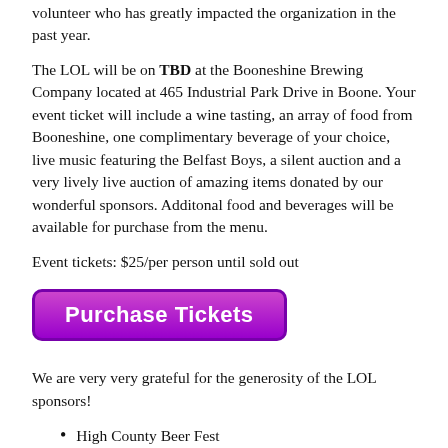volunteer who has greatly impacted the organization in the past year.
The LOL will be on TBD at the Booneshine Brewing Company located at 465 Industrial Park Drive in Boone. Your event ticket will include a wine tasting, an array of food from Booneshine, one complimentary beverage of your choice, live music featuring the Belfast Boys, a silent auction and a very lively live auction of amazing items donated by our wonderful sponsors. Additonal food and beverages will be available for purchase from the menu.
Event tickets: $25/per person until sold out
[Figure (other): Purple rounded button labeled 'Purchase Tickets']
We are very very grateful for the generosity of the LOL sponsors!
High County Beer Fest
Farm to Flame
Lost Province